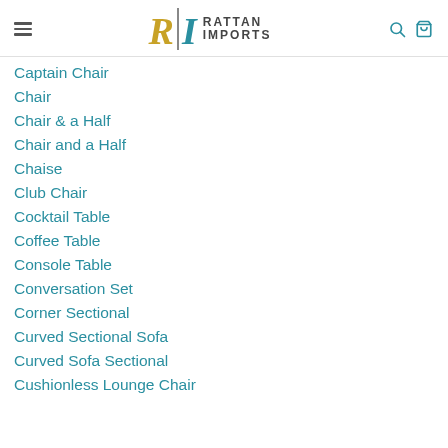Rattan Imports
Captain Chair
Chair
Chair & a Half
Chair and a Half
Chaise
Club Chair
Cocktail Table
Coffee Table
Console Table
Conversation Set
Corner Sectional
Curved Sectional Sofa
Curved Sofa Sectional
Cushionless Lounge Chair